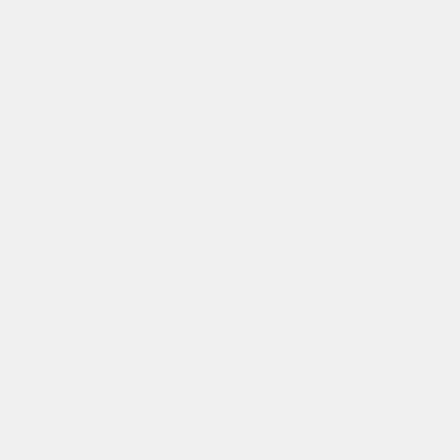[Figure (screenshot): Source code screenshot showing Java/Android Bluetooth connection code with syntax highlighting. Left portion is a blank panel, right portion shows code with purple keywords and green comments/identifiers.]